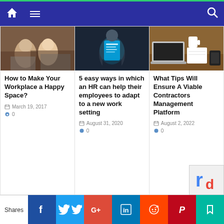[Figure (screenshot): Website navigation bar with home icon, hamburger menu, and search icon on dark blue background with green top border]
[Figure (photo): Two women smiling in an office workspace]
How to Make Your Workplace a Happy Space?
March 19, 2017
0
[Figure (photo): Person holding glowing digital document/clipboard with blue light]
5 easy ways in which an HR can help their employees to adapt to a new work setting
August 31, 2020
0
[Figure (photo): Laptop, notebook, and phone on a wooden desk]
What Tips Will Ensure A Viable Contractors Management Platform
August 2, 2022
0
[Figure (screenshot): Social media sharing bar with Facebook, Twitter, Google+, LinkedIn, Reddit, Pinterest, and bookmark buttons]
Shares